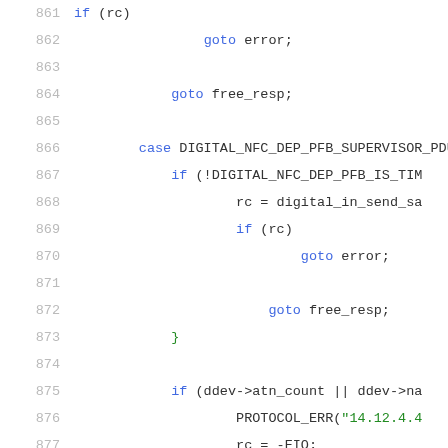Source code listing, lines 861-882, C language NFC digital protocol implementation